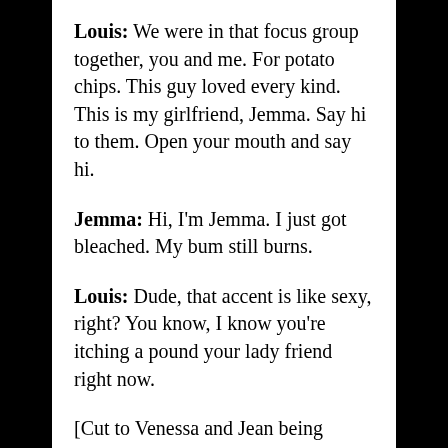Louis: We were in that focus group together, you and me. For potato chips. This guy loved every kind. This is my girlfriend, Jemma. Say hi to them. Open your mouth and say hi.
Jemma: Hi, I'm Jemma. I just got bleached. My bum still burns.
Louis: Dude, that accent is like sexy, right? You know, I know you're itching a pound your lady friend right now.
[Cut to Venessa and Jean being confused] Jean: Well, she's not my lady friend. She's my wife.